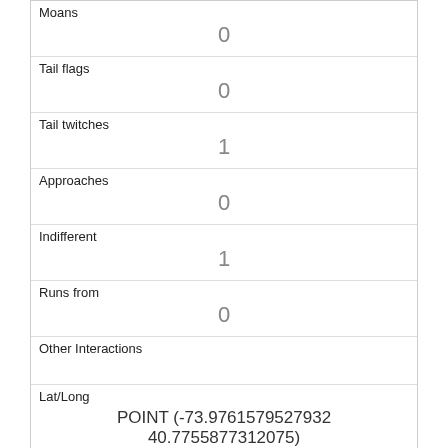| Moans | 0 |
| Tail flags | 0 |
| Tail twitches | 1 |
| Approaches | 0 |
| Indifferent | 1 |
| Runs from | 0 |
| Other Interactions |  |
| Lat/Long | POINT (-73.9761579527932 40.7755877312075) |
| Link | 356 |
| rowid | 356 |